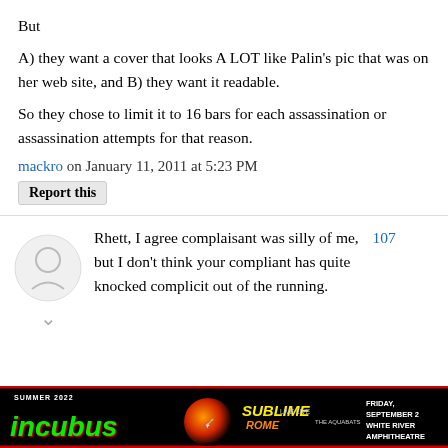But
A) they want a cover that looks A LOT like Palin's pic that was on her web site, and B) they want it readable.

So they chose to limit it to 16 bars for each assassination or assassination attempts for that reason.
mackro on January 11, 2011 at 5:23 PM
Report this
Rhett, I agree complaisant was silly of me, but I don't think your compliant has quite knocked complicit out of the running.
[Figure (other): Advertisement banner for Incubus, Sublime with Rome concert. Summer 2022. Friday, September 2, White River Amphitheatre.]